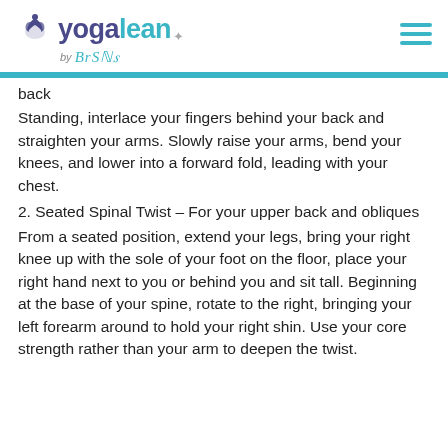yogalean by BrShs
back
Standing, interlace your fingers behind your back and straighten your arms. Slowly raise your arms, bend your knees, and lower into a forward fold, leading with your chest.
2. Seated Spinal Twist – For your upper back and obliques
From a seated position, extend your legs, bring your right knee up with the sole of your foot on the floor, place your right hand next to you or behind you and sit tall. Beginning at the base of your spine, rotate to the right, bringing your left forearm around to hold your right shin. Use your core strength rather than your arm to deepen the twist.